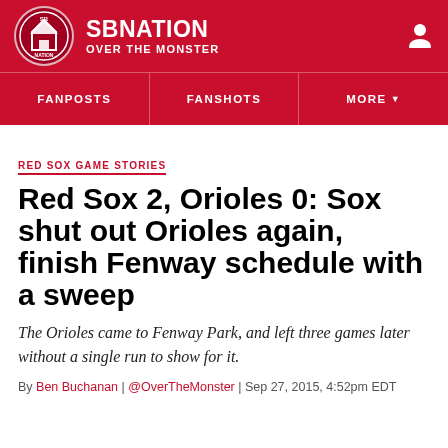SBNATION | OVER THE MONSTER
RED SOX GAME STORIES
Red Sox 2, Orioles 0: Sox shut out Orioles again, finish Fenway schedule with a sweep
The Orioles came to Fenway Park, and left three games later without a single run to show for it.
By Ben Buchanan | @OverTheMonster | Sep 27, 2015, 4:52pm EDT